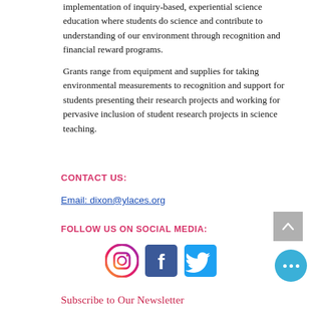implementation of inquiry-based, experiential science education where students do science and contribute to understanding of our environment through recognition and financial reward programs.
Grants range from equipment and supplies for taking environmental measurements to recognition and support for students presenting their research projects and working for pervasive inclusion of student research projects in science teaching.
CONTACT US:
Email: dixon@ylaces.org
FOLLOW US ON SOCIAL MEDIA:
[Figure (logo): Instagram, Facebook, and Twitter social media icons in a row]
Subscribe to Our Newsletter